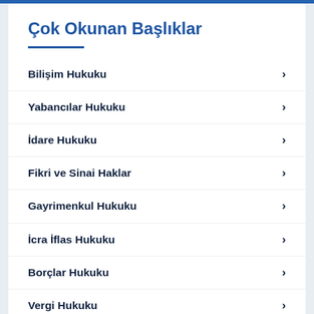Çok Okunan Başlıklar
Bilişim Hukuku
Yabancılar Hukuku
İdare Hukuku
Fikri ve Sinai Haklar
Gayrimenkul Hukuku
İcra İflas Hukuku
Borçlar Hukuku
Vergi Hukuku
Kambiyo Hukuku